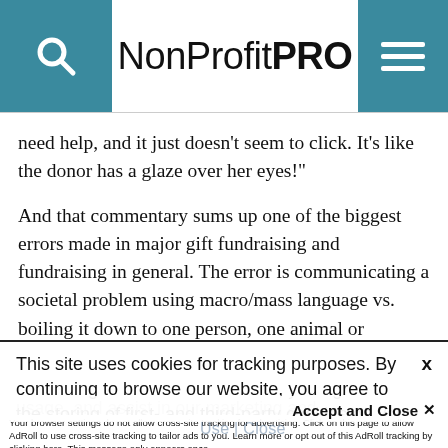NonProfit PRO
need help, and it just doesn't seem to click. It's like the donor has a glaze over her eyes!"
And that commentary sums up one of the biggest errors made in major gift fundraising and fundraising in general. The error is communicating a societal problem using macro/mass language vs. boiling it down to one person, one animal or
This site uses cookies for tracking purposes. By continuing to browse our website, you agree to the storing of first- and third-party cookies on your device to enhance site navigation, analyze site usage, and assist in our marketing and
Accept and Close ✕
Your browser settings do not allow cross-site tracking for advertising. Click on this page to allow AdRoll to use cross-site tracking to tailor ads to you. Learn more or opt out of this AdRoll tracking by clicking here. This message only appears once.